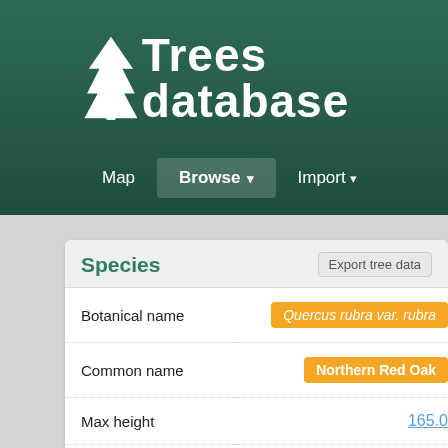Trees database
[Figure (logo): White conifer tree icon on dark green background]
Trees database
Map  Browse ▾  Import ▾
Species
Export tree data
| Field | Value |
| --- | --- |
| Botanical name | Quercus rubra var. rubra |
| Common name | Northern Red Oak |
| Max height | 165.0 |
| Max girth | 287 |
| Max crown spread | 106.8 |